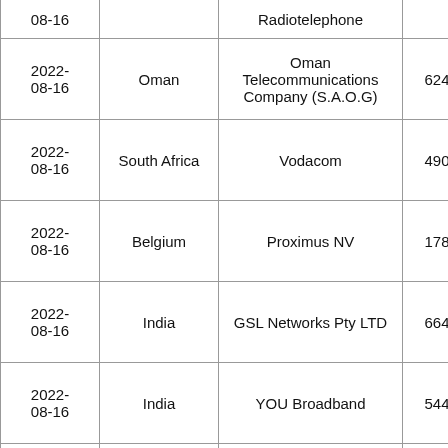| Date | Country | Company | Number |  |
| --- | --- | --- | --- | --- |
| 08-16 |  | Radiotelephone |  |  |
| 2022-08-16 | Oman | Oman Telecommunications Company (S.A.O.G) | 624 |  |
| 2022-08-16 | South Africa | Vodacom | 490 |  |
| 2022-08-16 | Belgium | Proximus NV | 178 |  |
| 2022-08-16 | India | GSL Networks Pty LTD | 664 |  |
| 2022-08-16 | India | YOU Broadband | 544 |  |
| 2022-08-16 | Jordan | Batelco Jordan | 288 |  |